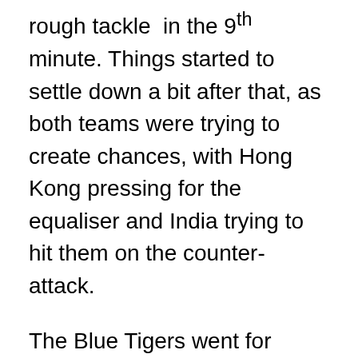rough tackle in the 9th minute. Things started to settle down a bit after that, as both teams were trying to create chances, with Hong Kong pressing for the equaliser and India trying to hit them on the counter-attack.
The Blue Tigers went for another counter-attack in the 23rd minute but Ashique was brought down cynically near the halfway mark and Hong Kong skipper Sean Kea Keung was booked for the challenge. In the 27th minute, Sahal had a chance to double India's lead when Chhetri's effort was saved by the keeper but Sahal's shot went just over the bar.